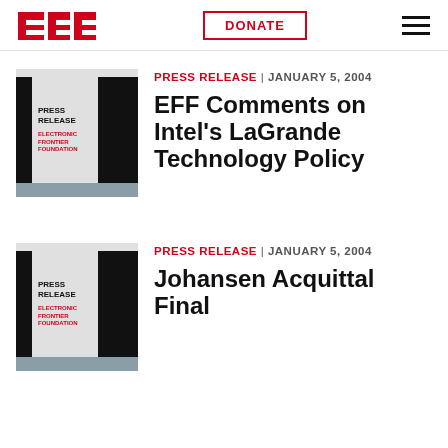EFF | DONATE
[Figure (illustration): EFF Press Release thumbnail image with PRESS RELEASE and ELECTRONIC FRONTIER FOUNDATION text]
PRESS RELEASE | JANUARY 5, 2004
EFF Comments on Intel's LaGrande Technology Policy
[Figure (illustration): EFF Press Release thumbnail image with PRESS RELEASE and ELECTRONIC FRONTIER FOUNDATION text]
PRESS RELEASE | JANUARY 5, 2004
Johansen Acquittal Final